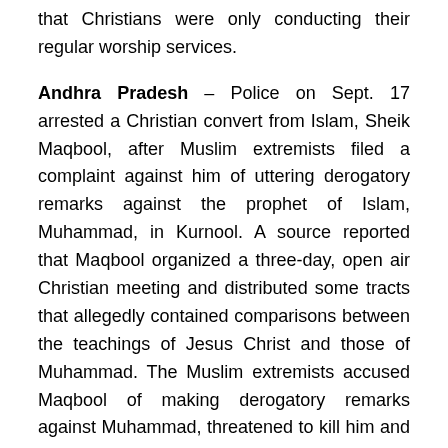that Christians were only conducting their regular worship services.
Andhra Pradesh – Police on Sept. 17 arrested a Christian convert from Islam, Sheik Maqbool, after Muslim extremists filed a complaint against him of uttering derogatory remarks against the prophet of Islam, Muhammad, in Kurnool. A source reported that Maqbool organized a three-day, open air Christian meeting and distributed some tracts that allegedly contained comparisons between the teachings of Jesus Christ and those of Muhammad. The Muslim extremists accused Maqbool of making derogatory remarks against Muhammad, threatened to kill him and filed a police complaint against him. Area Christian leaders maintained that the tracts did not contain any hateful remarks against Muhammad; they asserted that the Muslim extremists